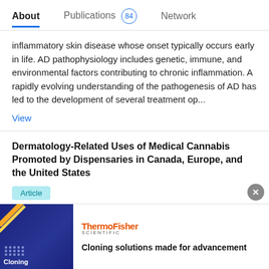About   Publications 84   Network
inflammatory skin disease whose onset typically occurs early in life. AD pathophysiology includes genetic, immune, and environmental factors contributing to chronic inflammation. A rapidly evolving understanding of the pathogenesis of AD has led to the development of several treatment op...
View
Dermatology-Related Uses of Medical Cannabis Promoted by Dispensaries in Canada, Europe, and the United States
Article
Oct 2018
Megan Lim · Mark G Kirchhof
Advertisement
[Figure (infographic): ThermoFisher Scientific advertisement banner with dark blue background image showing 'Cloning' text and tagline 'Cloning solutions made for advancement']